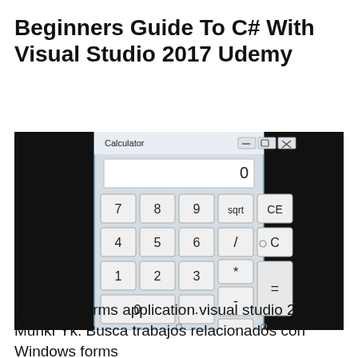Beginners Guide To C# With Visual Studio 2017 Udemy
[Figure (screenshot): Screenshot of a Windows Forms Calculator application built in Visual Studio 2017. The calculator window shows a title bar labeled 'Calculator' with minimize, maximize, and close buttons. A display area shows '0'. Below are calculator buttons: 7, 8, 9, sqrt, CE in the first row; 4, 5, 6, /, C in the second row; 1, 2, 3, *, and a tall = button on the right; 0 (wide), ., +, - buttons in the bottom rows. The window is shown in design mode with resize handles visible. Black rectangles appear on the left and right sides of the image.]
Windows forms application visual studio 2017 MunkГŸk. Busca trabajos relacionados con Windows forms